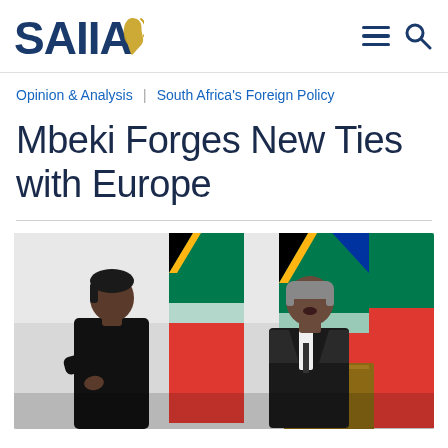SAIIA [logo with Africa map icon] — hamburger menu — search icon
Opinion & Analysis | South Africa's Foreign Policy
Mbeki Forges New Ties with Europe
[Figure (photo): A woman in a black turtleneck standing at left and a grey-haired man in a dark suit speaking at a podium at right, with South African flags in the background.]